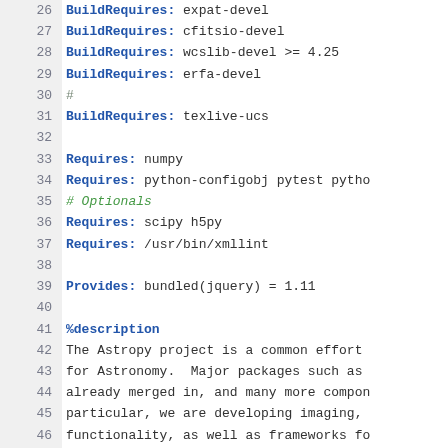26  BuildRequires: expat-devel
27  BuildRequires: cfitsio-devel
28  BuildRequires: wcslib-devel >= 4.25
29  BuildRequires: erfa-devel
30  #
31  BuildRequires: texlive-ucs
32  
33  Requires: numpy
34  Requires: python-configobj pytest pytho
35  # Optionals
36  Requires: scipy h5py
37  Requires: /usr/bin/xmllint
38  
39  Provides: bundled(jquery) = 1.11
40  
41  %description
42  The Astropy project is a common effort
43  for Astronomy.  Major packages such as
44  already merged in, and many more compon
45  particular, we are developing imaging,
46  functionality, as well as frameworks fo
47  coordinate transformations.
48  
49  %package doc